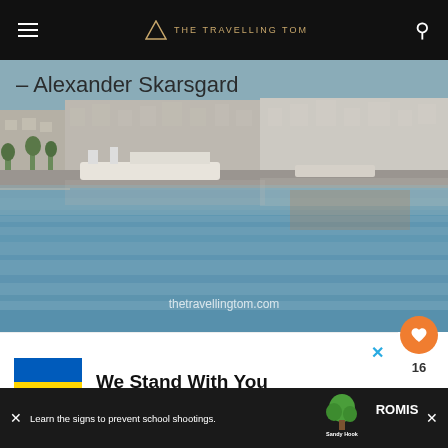THE TRAVELLING TOM
[Figure (photo): Stockholm waterfront photo with text '– Alexander Skarsgard' overlay and 'thetravellingtom.com' watermark. Blue-grey water in foreground, buildings along waterfront in background.]
[Figure (infographic): Ukrainian flag (blue and yellow) with bold text 'We Stand With You' — advertisement banner with a blue X close button]
[Figure (infographic): Dark bottom ad bar: 'Learn the signs to prevent school shootings.' with Sandy Hook Promise tree logo]